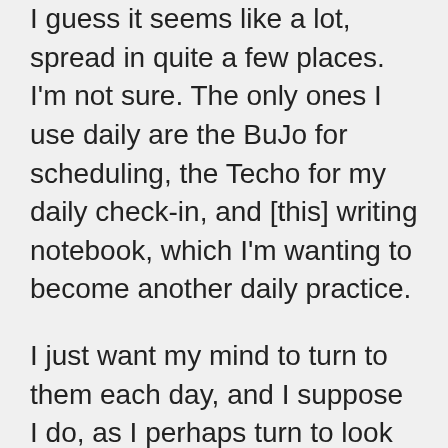I guess it seems like a lot, spread in quite a few places. I'm not sure. The only ones I use daily are the BuJo for scheduling, the Techo for my daily check-in, and [this] writing notebook, which I'm wanting to become another daily practice.
I just want my mind to turn to them each day, and I suppose I do, as I perhaps turn to look at the little Japanese cup where my pens sit (3 bucks from Daiso), or the stack of friendly-looking notebooks beside my work laptop.
I guess for a while I had lost my way with my writing, and going back to doing as much as I can by hand seems to put me in a more effusive state, and I can get myself putting